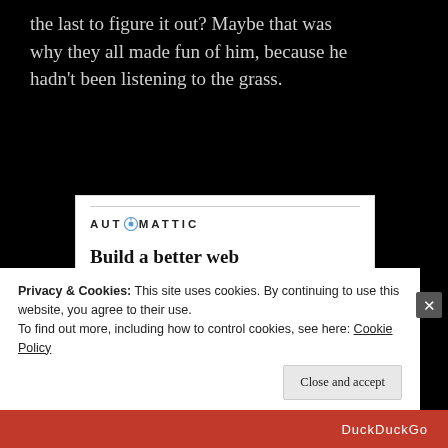the last to figure it out? Maybe that was why they all made fun of him, because he hadn't been listening to the grass.
[Figure (infographic): Automattic advertisement: 'Build a better web and a better world.' with an Apply button and a circular photo of a man]
Privacy & Cookies: This site uses cookies. By continuing to use this website, you agree to their use.
To find out more, including how to control cookies, see here: Cookie Policy
Close and accept
DuckDuckGo